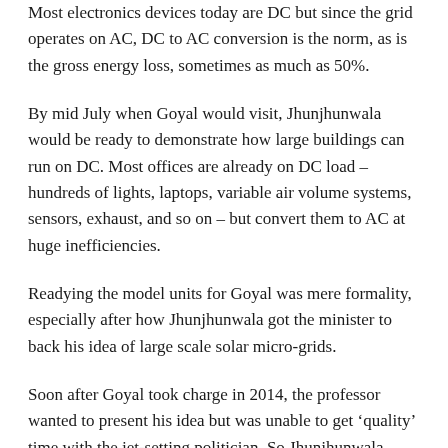Most electronics devices today are DC but since the grid operates on AC, DC to AC conversion is the norm, as is the gross energy loss, sometimes as much as 50%.
By mid July when Goyal would visit, Jhunjhunwala would be ready to demonstrate how large buildings can run on DC. Most offices are already on DC load – hundreds of lights, laptops, variable air volume systems, sensors, exhaust, and so on – but convert them to AC at huge inefficiencies.
Readying the model units for Goyal was mere formality, especially after how Jhunjhunwala got the minister to back his idea of large scale solar micro-grids.
Soon after Goyal took charge in 2014, the professor wanted to present his idea but was unable to get ‘quality’ time with the jet-setting politician. So Jhunjhunwala worked out with his office, flew to Mumbai just so he could find a seat next to the politician on his return to Delhi. In the flight, he